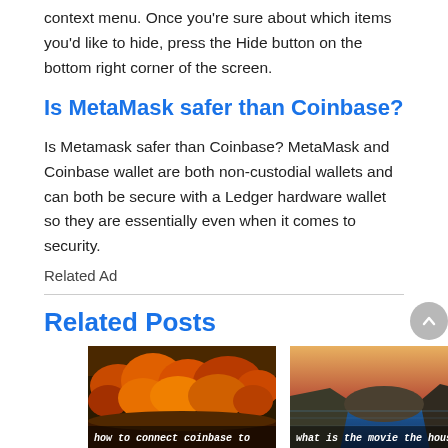context menu. Once you're sure about which items you'd like to hide, press the Hide button on the bottom right corner of the screen.
Is MetaMask safer than Coinbase?
Is Metamask safer than Coinbase? MetaMask and Coinbase wallet are both non-custodial wallets and can both be secure with a Ledger hardware wallet so they are essentially even when it comes to security.
Related Ad
Related Posts
[Figure (photo): Autumn forest scene with orange and red foliage, caption reads 'how to connect coinbase to']
[Figure (photo): Coastal cliffs with sea view at dusk, caption reads 'what is the movie the house about']